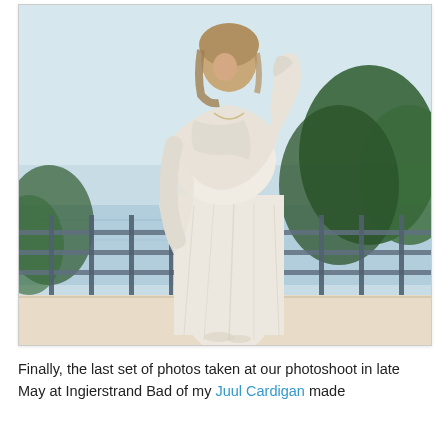[Figure (photo): A woman wearing a cream/ivory knit cardigan draped over her shoulders with a long flowy lace/textured white maxi skirt, standing on an outdoor terrace or deck with a metal railing, water and trees visible in the background. Outdoor photoshoot setting.]
Finally, the last set of photos taken at our photoshoot in late May at Ingierstrand Bad of my Juul Cardigan made